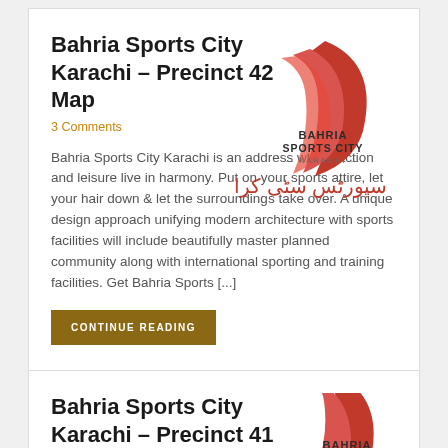Bahria Sports City Karachi – Precinct 42 Map
3 Comments
[Figure (logo): Bahria Sports City Karachi logo with red swoosh graphic and Urdu text below]
Bahria Sports City Karachi is an address where action and leisure live in harmony. Put on your sports attire, let your hair down & let the surroundings take over. A unique design approach unifying modern architecture with sports facilities will include beautifully master planned community along with international sporting and training facilities. Get Bahria Sports [...]
CONTINUE READING
Bahria Sports City Karachi – Precinct 41 Map
[Figure (logo): Bahria Sports City Karachi logo with red swoosh graphic (partial, bottom of page)]